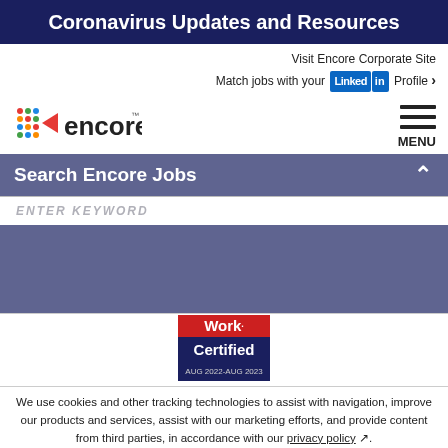Coronavirus Updates and Resources
Visit Encore Corporate Site
Match jobs with your LinkedIn Profile >
[Figure (logo): Encore company logo with colorful dot pattern and arrow]
MENU
Search Encore Jobs
ENTER KEYWORD
[Figure (logo): Work. Certified AUG 2022-AUG 2023 badge]
We use cookies and other tracking technologies to assist with navigation, improve our products and services, assist with our marketing efforts, and provide content from third parties, in accordance with our privacy policy.